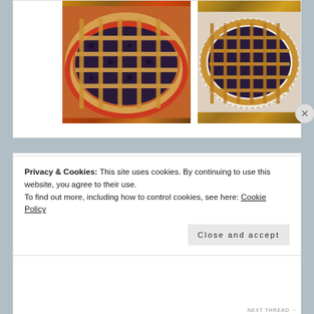[Figure (photo): Two photos of lattice-topped berry pies: left photo shows a pie in a red ceramic dish, right photo shows a pie on a decorative plate with a crosshatch lattice crust]
UNCATEGORIZED
perception
Privacy & Cookies: This site uses cookies. By continuing to use this website, you agree to their use.
To find out more, including how to control cookies, see here: Cookie Policy
Close and accept